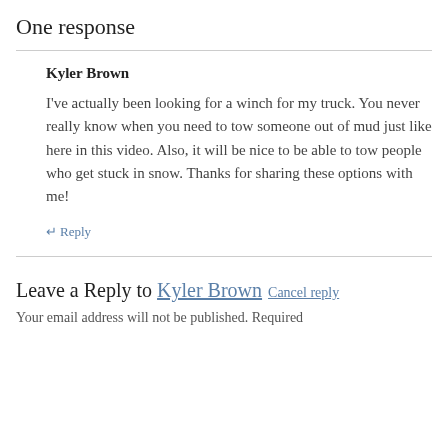One response
Kyler Brown
I've actually been looking for a winch for my truck. You never really know when you need to tow someone out of mud just like here in this video. Also, it will be nice to be able to tow people who get stuck in snow. Thanks for sharing these options with me!
↵ Reply
Leave a Reply to Kyler Brown Cancel reply
Your email address will not be published. Required